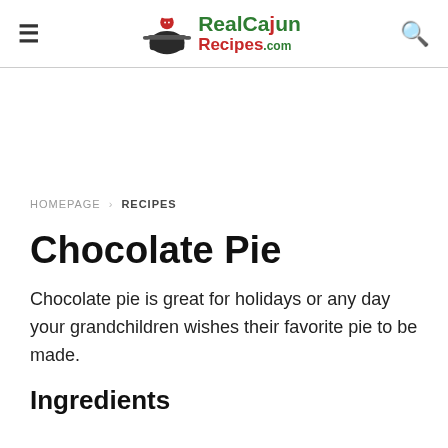RealCajunRecipes.com
HOMEPAGE › RECIPES
Chocolate Pie
Chocolate pie is great for holidays or any day your grandchildren wishes their favorite pie to be made.
Ingredients